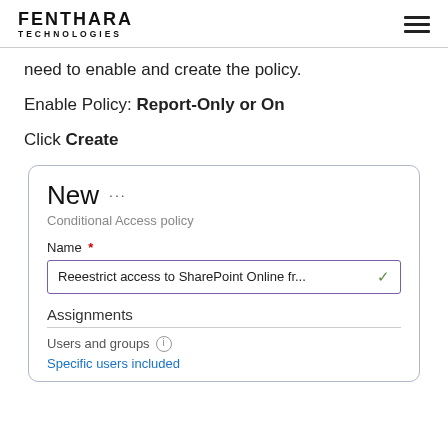FENTHARA TECHNOLOGIES
need to enable and create the policy.
Enable Policy: Report-Only or On
Click Create
[Figure (screenshot): Screenshot of Microsoft Conditional Access policy creation panel titled 'New' with fields: Name (filled with 'Reeestrict access to SharePoint Online fr...'), Assignments section showing 'Users and groups' with 'Specific users included' link.]